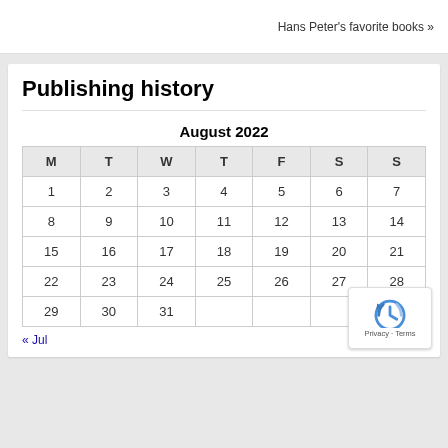Hans Peter's favorite books »
Publishing history
| M | T | W | T | F | S | S |
| --- | --- | --- | --- | --- | --- | --- |
| 1 | 2 | 3 | 4 | 5 | 6 | 7 |
| 8 | 9 | 10 | 11 | 12 | 13 | 14 |
| 15 | 16 | 17 | 18 | 19 | 20 | 21 |
| 22 | 23 | 24 | 25 | 26 | 27 | 28 |
| 29 | 30 | 31 |  |  |  |  |
« Jul